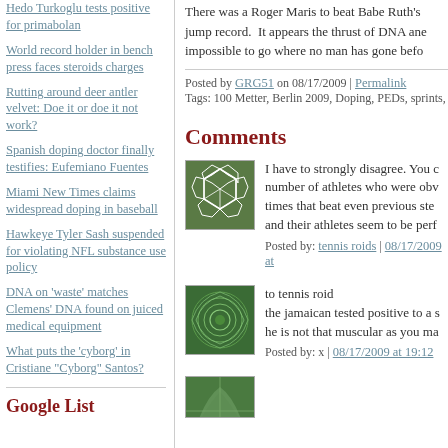Hedo Turkoglu tests positive for primabolan
World record holder in bench press faces steroids charges
Rutting around deer antler velvet: Doe it or doe it not work?
Spanish doping doctor finally testifies: Eufemiano Fuentes
Miami New Times claims widespread doping in baseball
Hawkeye Tyler Sash suspended for violating NFL substance use policy
DNA on 'waste' matches Clemens' DNA found on juiced medical equipment
What puts the 'cyborg' in Cristiane "Cyborg" Santos?
Google List
There was a Roger Maris to beat Babe Ruth's jump record. It appears the thrust of DNA and impossible to go where no man has gone befo...
Posted by: GRG51 on 08/17/2009 | Permalink
Tags: 100 Metter, Berlin 2009, Doping, PEDs, sprints,
Comments
[Figure (illustration): Green soccer ball pattern avatar image]
I have to strongly disagree. You c... number of athletes who were obv... times that beat even previous ste... and their athletes seem to be perf...
Posted by: tennis roids | 08/17/2009 at ...
[Figure (illustration): Green spiral/swirl pattern avatar image]
to tennis roid
the jamaican tested positive to a s...
he is not that muscular as you ma...
Posted by: x | 08/17/2009 at 19:12
[Figure (illustration): Third avatar image, partially visible]